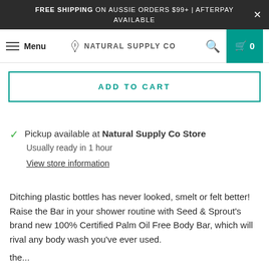FREE SHIPPING ON AUSSIE ORDERS $99+ | AFTERPAY AVAILABLE
Menu | NATURAL SUPPLY CO | 0
ADD TO CART
Pickup available at Natural Supply Co Store
Usually ready in 1 hour
View store information
Ditching plastic bottles has never looked, smelt or felt better! Raise the Bar in your shower routine with Seed & Sprout's brand new 100% Certified Palm Oil Free Body Bar, which will rival any body wash you've ever used.
the...